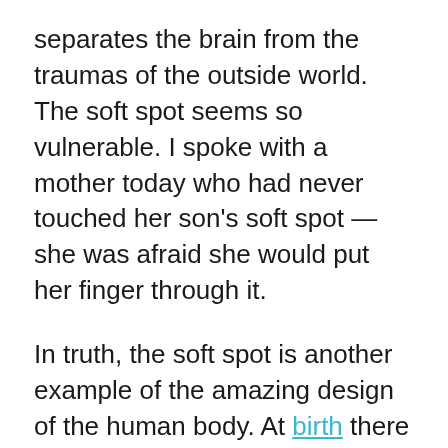separates the brain from the traumas of the outside world. The soft spot seems so vulnerable. I spoke with a mother today who had never touched her son's soft spot — she was afraid she would put her finger through it.
In truth, the soft spot is another example of the amazing design of the human body. At birth there are six soft spots, but only two are noticeable (the largest, up on top, is the anterior fontanel). The loose connections of the skull bones that intersect in the soft spots make labor and delivery possible. Without this flexible anatomy, either human babies would have to have smaller brains or human mothers would have to have wider hips if any babies